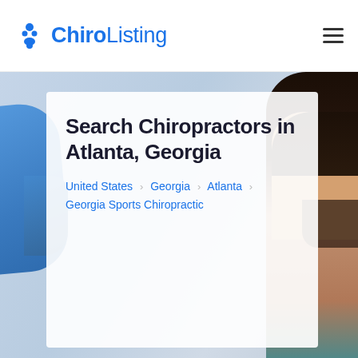ChiroListing
[Figure (photo): Background photo of a chiropractor in blue gloves treating a patient, with another person visible on the right side]
Search Chiropractors in Atlanta, Georgia
United States > Georgia > Atlanta > Georgia Sports Chiropractic